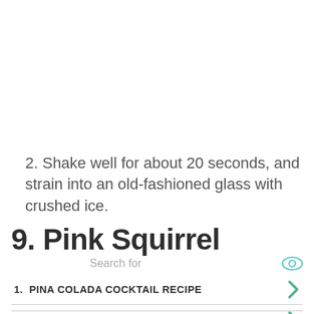2. Shake well for about 20 seconds, and strain into an old-fashioned glass with crushed ice.
9. Pink Squirrel
Search for
1.  PINA COLADA COCKTAIL RECIPE
2.  EASY PINA COLADA RECIPE